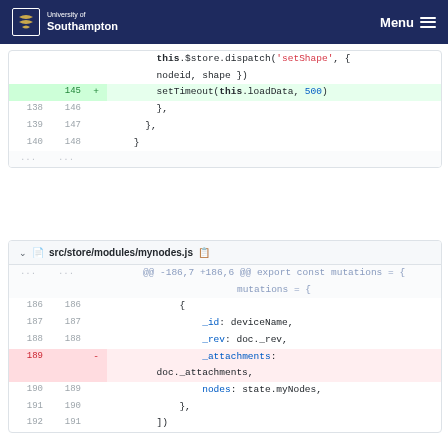University of Southampton | Menu
[Figure (screenshot): Code diff block 1 showing additions: this.$store.dispatch('setShape', { nodeid, shape }), setTimeout(this.loadData, 500), with line numbers 138-140 / 146-148 and ellipsis rows.]
[Figure (screenshot): Code diff block 2 for src/store/modules/mynodes.js showing hunk @@ -186,7 +186,6 @@ export const mutations = {, lines 186-192 with deletion of _attachments: doc._attachments.]